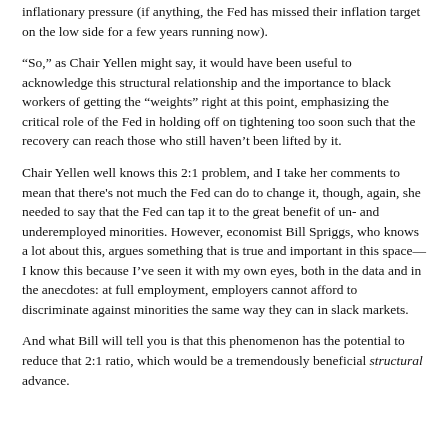inflationary pressure (if anything, the Fed has missed their inflation target on the low side for a few years running now).
“So,” as Chair Yellen might say, it would have been useful to acknowledge this structural relationship and the importance to black workers of getting the “weights” right at this point, emphasizing the critical role of the Fed in holding off on tightening too soon such that the recovery can reach those who still haven’t been lifted by it.
Chair Yellen well knows this 2:1 problem, and I take her comments to mean that there's not much the Fed can do to change it, though, again, she needed to say that the Fed can tap it to the great benefit of un- and underemployed minorities. However, economist Bill Spriggs, who knows a lot about this, argues something that is true and important in this space—I know this because I’ve seen it with my own eyes, both in the data and in the anecdotes: at full employment, employers cannot afford to discriminate against minorities the same way they can in slack markets.
And what Bill will tell you is that this phenomenon has the potential to reduce that 2:1 ratio, which would be a tremendously beneficial structural advance.